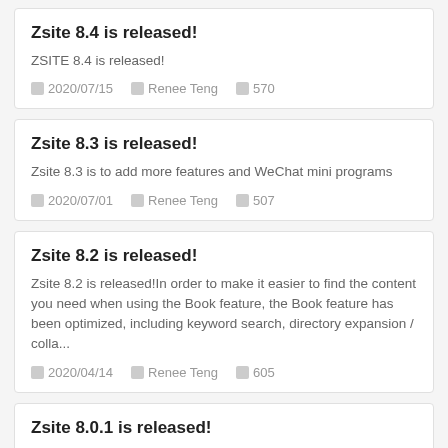Zsite 8.4 is released!
ZSITE 8.4 is released!
2020/07/15   Renee Teng   570
Zsite 8.3 is released!
Zsite 8.3 is to add more features and WeChat mini programs
2020/07/01   Renee Teng   507
Zsite 8.2 is released!
Zsite 8.2 is released!In order to make it easier to find the content you need when using the Book feature, the Book feature has been optimized, including keyword search, directory expansion / colla...
2020/04/14   Renee Teng   605
Zsite 8.0.1 is released!
Zsite 8.0.1 is released! License management is optimized.
2020/04/06   Renee Teng   546